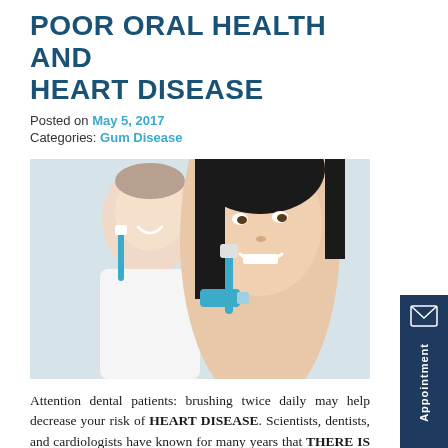POOR ORAL HEALTH AND HEART DISEASE
Posted on May 5, 2017
Categories: Gum Disease
[Figure (photo): A man and woman smiling while brushing their teeth with electric toothbrushes]
Attention dental patients: brushing twice daily may help decrease your risk of HEART DISEASE. Scientists, dentists, and cardiologists have known for many years that THERE IS A LINK BETWEEN INFLAMMATION IN THE MOUTH (GUM DISEASE) AND HEART PROBLEMS. However, a recent st